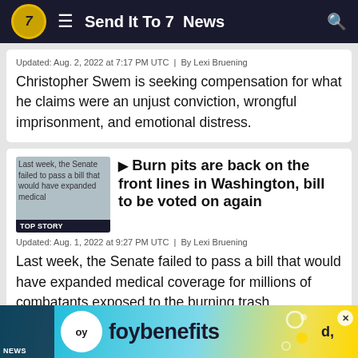Send It To 7  News
Updated: Aug. 2, 2022 at 7:17 PM UTC  |  By Lexi Bruening
Christopher Swem is seeking compensation for what he claims were an unjust conviction, wrongful imprisonment, and emotional distress.
[Figure (screenshot): Thumbnail image with TOP STORY badge overlay showing text: Last week, the Senate failed to pass a bill that would have expanded medical]
Burn pits are back on the front lines in Washington, bill to be voted on again
Updated: Aug. 1, 2022 at 9:27 PM UTC  |  By Lexi Bruening
Last week, the Senate failed to pass a bill that would have expanded medical coverage for millions of combatants exposed to the burning trash.
[Figure (infographic): Foybenefits advertisement banner with logo, brand name and decorative circles]